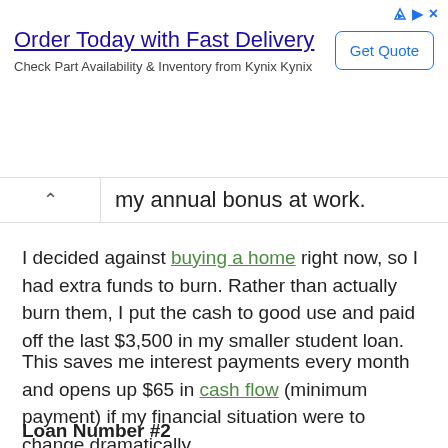[Figure (other): Advertisement banner: 'Order Today with Fast Delivery' from Kynix, with a 'Get Quote' button]
my annual bonus at work.
I decided against buying a home right now, so I had extra funds to burn. Rather than actually burn them, I put the cash to good use and paid off the last $3,500 in my smaller student loan.
This saves me interest payments every month and opens up $65 in cash flow (minimum payment) if my financial situation were to change dramatically.
Loan Number #2